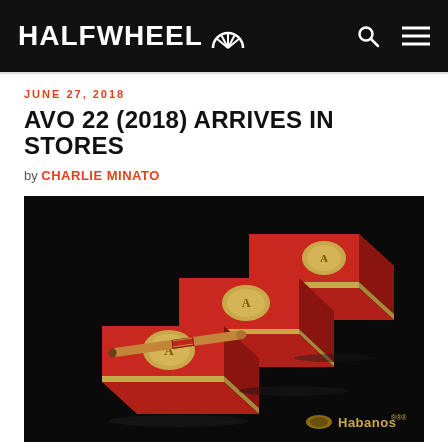HALFWHEEL
JUNE 27, 2018
AVO 22 (2018) ARRIVES IN STORES
by CHARLIE MINATO
[Figure (photo): Three red AVO cigar boxes with gold medallion emblems arranged in a staggered diagonal display on a black background. One cigar rests on the front box. The Habanos logo with registered trademark symbol appears in the lower right corner.]